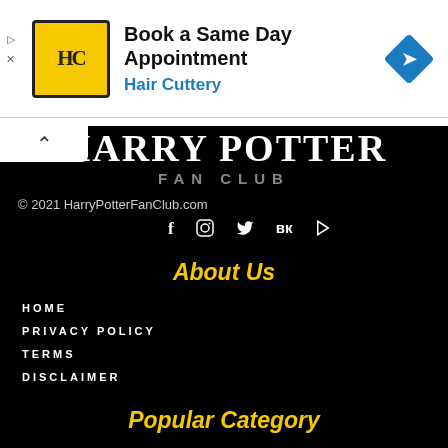[Figure (infographic): Hair Cuttery advertisement banner with logo, text 'Book a Same Day Appointment' and 'Hair Cuttery', and a blue diamond navigation icon]
HARRY POTTER FAN CLUB
© 2021 HarryPotterFanClub.com
[Figure (infographic): Social media icons row: Facebook (f), Instagram (camera), Twitter (bird), VK (vk), YouTube (play)]
About Us
HOME
PRIVACY POLICY
TERMS
DISCLAIMER
Popular Category